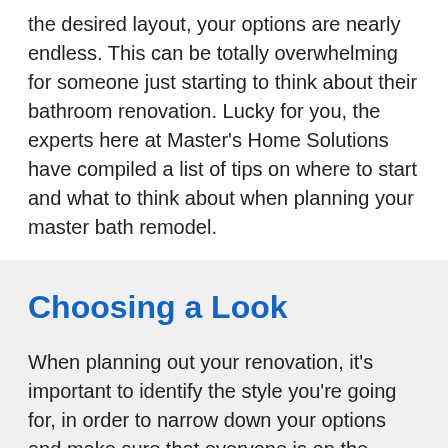the desired layout, your options are nearly endless. This can be totally overwhelming for someone just starting to think about their bathroom renovation. Lucky for you, the experts here at Master's Home Solutions have compiled a list of tips on where to start and what to think about when planning your master bath remodel.
Choosing a Look
When planning out your renovation, it's important to identify the style you're going for, in order to narrow down your options and make sure that everyone is on the same page about the final look of the room. how to describe your tastes? Start with a design like Yes/No Design: Discover Your Decorating Style with